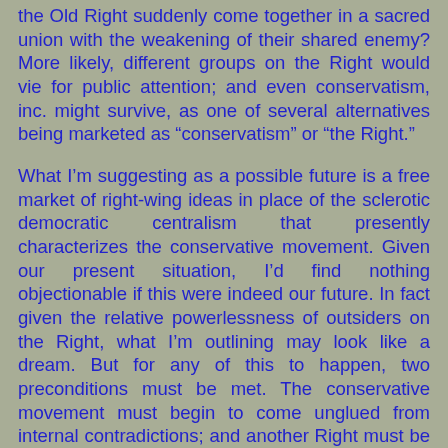the Old Right suddenly come together in a sacred union with the weakening of their shared enemy? More likely, different groups on the Right would vie for public attention; and even conservatism, inc. might survive, as one of several alternatives being marketed as “conservatism” or “the Right.”
What I’m suggesting as a possible future is a free market of right-wing ideas in place of the sclerotic democratic centralism that presently characterizes the conservative movement. Given our present situation, I’d find nothing objectionable if this were indeed our future. In fact given the relative powerlessness of outsiders on the Right, what I’m outlining may look like a dream. But for any of this to happen, two preconditions must be met. The conservative movement must begin to come unglued from internal contradictions; and another Right must be able to crash the party (for certainly it won’t be invited in) with sufficient resources to become a media force. Unless these things happen, any